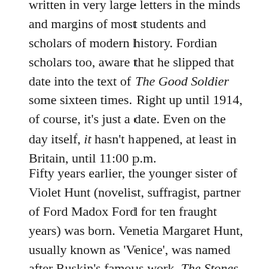written in very large letters in the minds and margins of most students and scholars of modern history. Fordian scholars too, aware that he slipped that date into the text of The Good Soldier some sixteen times. Right up until 1914, of course, it's just a date. Even on the day itself, it hasn't happened, at least in Britain, until 11:00 p.m.
Fifty years earlier, the younger sister of Violet Hunt (novelist, suffragist, partner of Ford Madox Ford for ten fraught years) was born. Venetia Margaret Hunt, usually known as 'Venice', was named after Ruskin's famous work, The Stones of Venice (1851–53) and Ruskin became her godfather. On the same day in 1899, poet and short story writer Walter de la